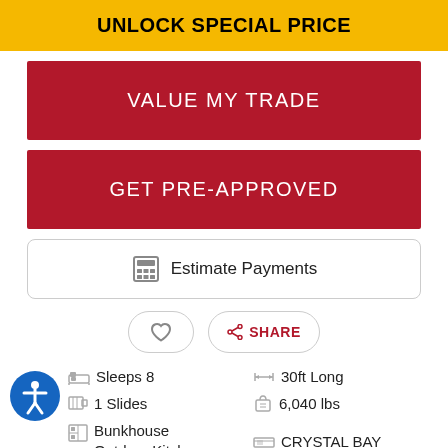UNLOCK SPECIAL PRICE
VALUE MY TRADE
GET PRE-APPROVED
Estimate Payments
SHARE
Sleeps 8
1 Slides
Bunkhouse Outdoor Kitchen
30ft Long
6,040 lbs
CRYSTAL BAY